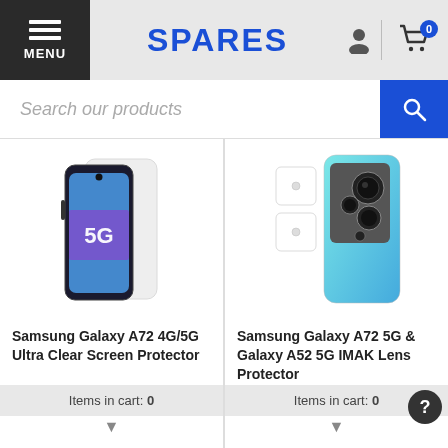[Figure (screenshot): E-commerce website header with hamburger menu icon labeled MENU, SPARES logo in blue, person icon, and shopping cart icon with badge showing 0]
Search our products
[Figure (photo): Samsung Galaxy A72 4G/5G smartphone with 5G screen protector overlay]
[Figure (photo): Samsung Galaxy A72 5G rear camera lens protector shown alongside the phone back]
Samsung Galaxy A72 4G/5G Ultra Clear Screen Protector
Samsung Galaxy A72 5G & Galaxy A52 5G IMAK Lens Protector
Items in cart: 0
Items in cart: 0
Log in to see prices
Log in to see prices